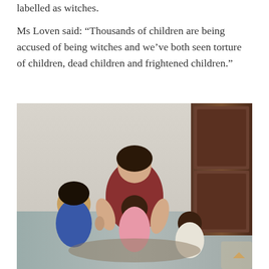labelled as witches.
Ms Loven said: “Thousands of children are being accused of being witches and we’ve both seen torture of children, dead children and frightened children.”
[Figure (photo): A woman sitting on the ground with three young children, including a toddler in a blue shirt on the left, a child in pink in the middle, and a baby in white on the right. The setting appears to be indoors near a wooden door.]